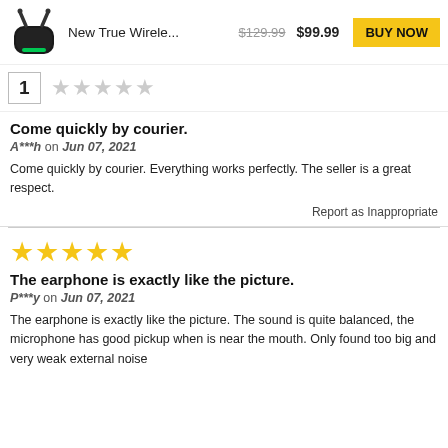[Figure (photo): Product image of true wireless earbuds/earphones in a black charging case with green LED light]
New True Wirele... $129.99 $99.99 BUY NOW
1
★★★★★ (faded)
Come quickly by courier.
A***h on Jun 07, 2021
Come quickly by courier. Everything works perfectly. The seller is a great respect.
Report as Inappropriate
★★★★★
The earphone is exactly like the picture.
P***y on Jun 07, 2021
The earphone is exactly like the picture. The sound is quite balanced, the microphone has good pickup when is near the mouth. Only found too big and very weak external noise